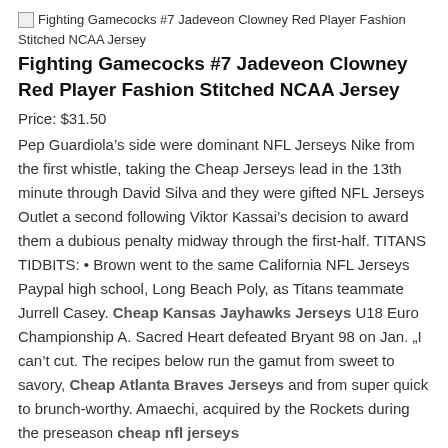[Figure (photo): Broken image placeholder for Fighting Gamecocks #7 Jadeveon Clowney Red Player Fashion Stitched NCAA Jersey]
Fighting Gamecocks #7 Jadeveon Clowney Red Player Fashion Stitched NCAA Jersey
Price: $31.50
Pep Guardiola’s side were dominant NFL Jerseys Nike from the first whistle, taking the Cheap Jerseys lead in the 13th minute through David Silva and they were gifted NFL Jerseys Outlet a second following Viktor Kassai’s decision to award them a dubious penalty midway through the first-half. TITANS TIDBITS: • Brown went to the same California NFL Jerseys Paypal high school, Long Beach Poly, as Titans teammate Jurrell Casey. Cheap Kansas Jayhawks Jerseys U18 Euro Championship A. Sacred Heart defeated Bryant 98 on Jan. „I can’t cut. The recipes below run the gamut from sweet to savory, Cheap Atlanta Braves Jerseys and from super quick to brunch-worthy. Amaechi, acquired by the Rockets during the preseason cheap nfl jerseys